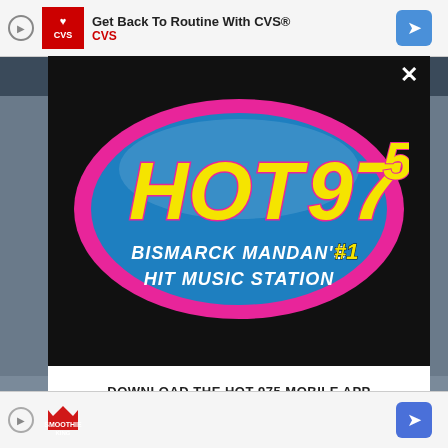[Figure (screenshot): Top advertisement bar showing CVS logo with heart, text 'Get Back To Routine With CVS®' and 'CVS', with navigation arrow button]
[Figure (logo): HOT 97.5 radio station logo - oval shape with blue background, pink border, yellow text 'HOT 97.5', subtitle 'BISMARCK MANDAN'S #1 HIT MUSIC STATION']
DOWNLOAD THE HOT 975 MOBILE APP
GET OUR FREE MOBILE APP
Also listen on:  amazon alexa
[Figure (screenshot): Bottom advertisement bar with Smoothie King logo and navigation arrow button]